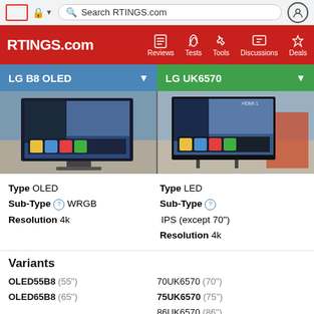Search RTINGS.com
[Figure (screenshot): RTINGS.com navigation bar with logo, Reviews, Tests, Tools, Discussions, Deals]
[Figure (screenshot): Comparison header: LG B8 OLED (blue) vs LG UK6570 (green) with TV product photos]
Type OLED
Sub-Type ? WRGB
Resolution 4k
Type LED
Sub-Type ?
IPS (except 70")
Resolution 4k
Variants
OLED55B8 (55")
OLED65B8 (65")
70UK6570 (70")
75UK6570 (75")
86UK6570 (86")
Review